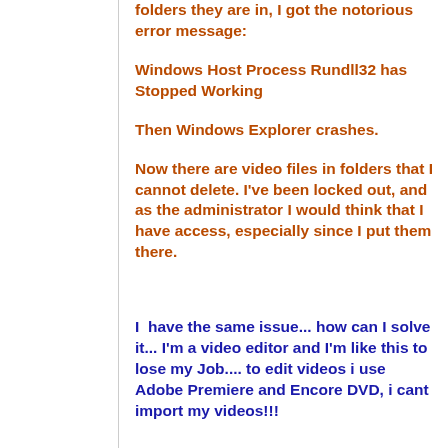folders they are in, I got the notorious error message:
Windows Host Process Rundll32 has Stopped Working
Then Windows Explorer crashes.
Now there are video files in folders that I cannot delete. I've been locked out, and as the administrator I would think that I have access, especially since I put them there.
I  have the same issue... how can I solve it... I'm a video editor and I'm like this to lose my Job.... to edit videos i use Adobe Premiere and Encore DVD, i cant import my videos!!!